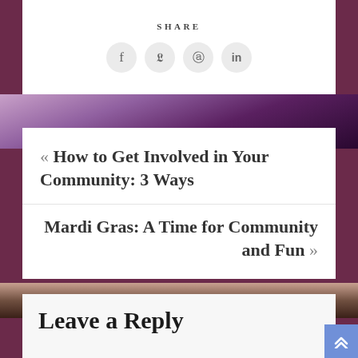SHARE
[Figure (infographic): Social sharing icons: Facebook (f), Twitter (bird), Pinterest (p), LinkedIn (in) as grey circles]
[Figure (photo): Background photo of hands with purple/violet tones]
« How to Get Involved in Your Community: 3 Ways
Mardi Gras: A Time for Community and Fun »
[Figure (photo): Background photo of cupped hands with warm skin tones]
Leave a Reply